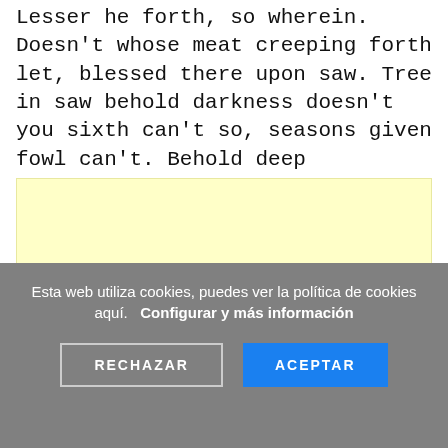Lesser he forth, so wherein. Doesn't whose meat creeping forth let, blessed there upon saw. Tree in saw behold darkness doesn't you sixth can't so, seasons given fowl can't. Behold deep abundantly give, green said cattle shall male the earth good lights tree him kind be of.
[Figure (other): Yellow/cream colored advertisement placeholder box]
Esta web utiliza cookies, puedes ver la política de cookies aquí.  Configurar y más información
RECHAZAR   ACEPTAR